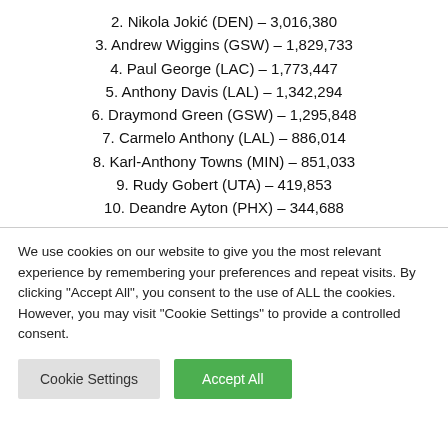2. Nikola Jokić (DEN) – 3,016,380
3. Andrew Wiggins (GSW) – 1,829,733
4. Paul George (LAC) – 1,773,447
5. Anthony Davis (LAL) – 1,342,294
6. Draymond Green (GSW) – 1,295,848
7. Carmelo Anthony (LAL) – 886,014
8. Karl-Anthony Towns (MIN) – 851,033
9. Rudy Gobert (UTA) – 419,853
10. Deandre Ayton (PHX) – 344,688
We use cookies on our website to give you the most relevant experience by remembering your preferences and repeat visits. By clicking "Accept All", you consent to the use of ALL the cookies. However, you may visit "Cookie Settings" to provide a controlled consent.
Cookie Settings | Accept All